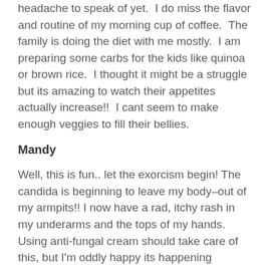headache to speak of yet.  I do miss the flavor and routine of my morning cup of coffee.  The family is doing the diet with me mostly.  I am preparing some carbs for the kids like quinoa or brown rice.  I thought it might be a struggle but its amazing to watch their appetites actually increase!!  I cant seem to make enough veggies to fill their bellies.
Mandy
Well, this is fun.. let the exorcism begin! The candida is beginning to leave my body–out of my armpits!! I now have a rad, itchy rash in my underarms and the tops of my hands. Using anti-fungal cream should take care of this, but I'm oddly happy its happening because it's showing that it's working, right?